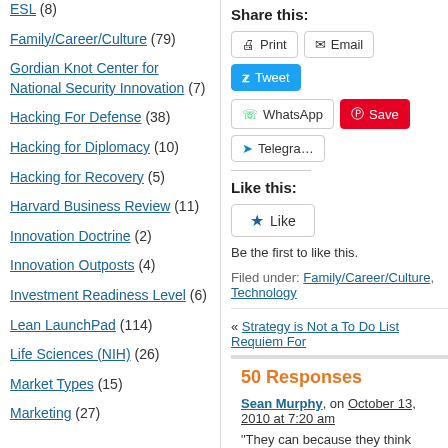ESL (8)
Family/Career/Culture (79)
Gordian Knot Center for National Security Innovation (7)
Hacking For Defense (38)
Hacking for Diplomacy (10)
Hacking for Recovery (5)
Harvard Business Review (11)
Innovation Doctrine (2)
Innovation Outposts (4)
Investment Readiness Level (6)
Lean LaunchPad (114)
Life Sciences (NIH) (26)
Market Types (15)
Marketing (27)
Share this:
Print  Email  Tweet  WhatsApp  Save  Telegram
Like this:
Like
Be the first to like this.
Filed under: Family/Career/Culture, Technology
« Strategy is Not a To Do List  Requiem For
50 Responses
Sean Murphy, on October 13, 2010 at 7:20 am
“They can because they think they can.” Vir
One way to reset your mental map is to cha you “newcomer’s eyes” on an established s